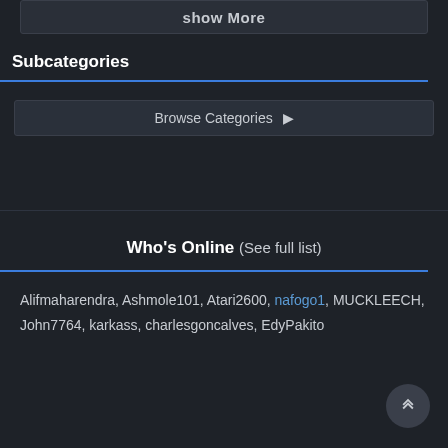show More
Subcategories
Browse Categories ▶
Who's Online (See full list)
Alifmaharendra, Ashmole101, Atari2600, nafogo1, MUCKLEECH, John7764, karkass, charlesgoncalves, EdyPakito